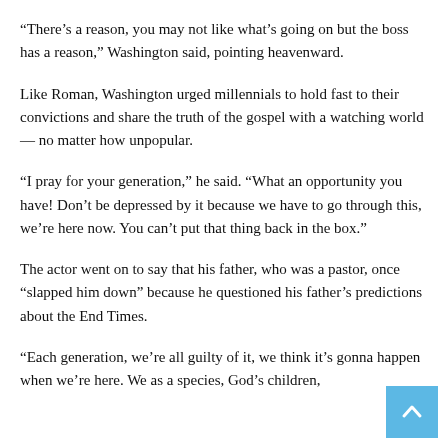“There’s a reason, you may not like what’s going on but the boss has a reason,” Washington said, pointing heavenward.
Like Roman, Washington urged millennials to hold fast to their convictions and share the truth of the gospel with a watching world — no matter how unpopular.
“I pray for your generation,” he said. “What an opportunity you have! Don’t be depressed by it because we have to go through this, we’re here now. You can’t put that thing back in the box.”
The actor went on to say that his father, who was a pastor, once “slapped him down” because he questioned his father’s predictions about the End Times.
“Each generation, we’re all guilty of it, we think it’s gonna happen when we’re here. We as a species, God’s children,